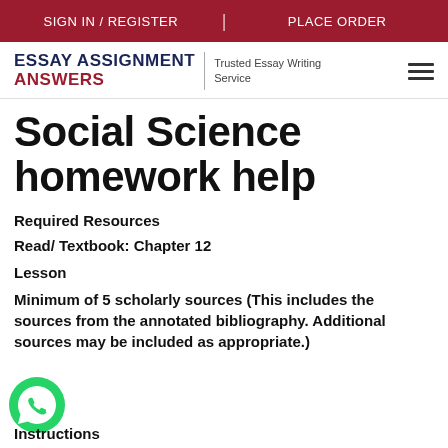SIGN IN / REGISTER | PLACE ORDER
[Figure (logo): Essay Assignment Answers logo with tagline 'Trusted Essay Writing Service' and hamburger menu icon]
Social Science homework help
Required Resources
Read/ Textbook: Chapter 12
Lesson
Minimum of 5 scholarly sources (This includes the sources from the annotated bibliography. Additional sources may be included as appropriate.)
Instructions